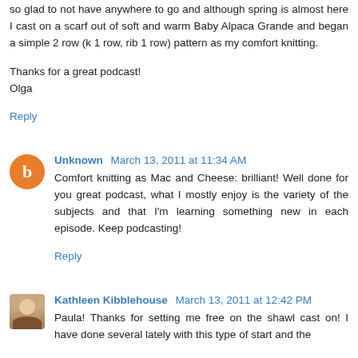so glad to not have anywhere to go and although spring is almost here I cast on a scarf out of soft and warm Baby Alpaca Grande and began a simple 2 row (k 1 row, rib 1 row) pattern as my comfort knitting.
Thanks for a great podcast!
Olga
Reply
Unknown  March 13, 2011 at 11:34 AM
Comfort knitting as Mac and Cheese: brilliant! Well done for you great podcast, what I mostly enjoy is the variety of the subjects and that I'm learning something new in each episode. Keep podcasting!
Reply
Kathleen Kibblehouse  March 13, 2011 at 12:42 PM
Paula! Thanks for setting me free on the shawl cast on! I have done several lately with this type of start and the